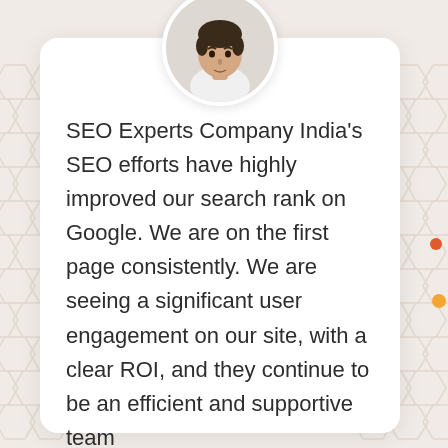[Figure (photo): Circular profile photo of a young man with dark hair, looking directly at the camera, wearing a white shirt. Photo set against a light gray circular background on a white card.]
SEO Experts Company India's SEO efforts have highly improved our search rank on Google. We are on the first page consistently. We are seeing a significant user engagement on our site, with a clear ROI, and they continue to be an efficient and supportive team